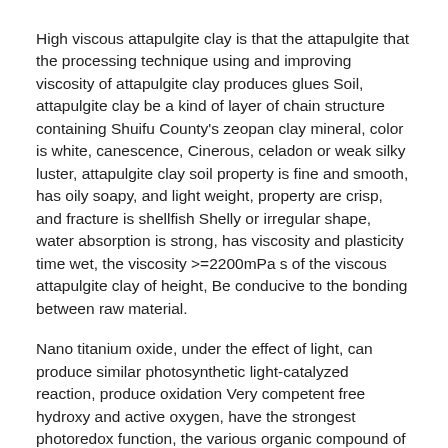High viscous attapulgite clay is that the attapulgite that the processing technique using and improving viscosity of attapulgite clay produces glues Soil, attapulgite clay be a kind of layer of chain structure containing Shuifu County's zeopan clay mineral, color is white, canescence, Cinerous, celadon or weak silky luster, attapulgite clay soil property is fine and smooth, has oily soapy, and light weight, property are crisp, and fracture is shellfish Shelly or irregular shape, water absorption is strong, has viscosity and plasticity time wet, the viscosity >=2200mPa s of the viscous attapulgite clay of height, Be conducive to the bonding between raw material.
Nano titanium oxide, under the effect of light, can produce similar photosynthetic light-catalyzed reaction, produce oxidation Very competent free hydroxy and active oxygen, have the strongest photoredox function, the various organic compound of oxidable decomposition Thing and part inorganic matter, can destroy cell membrane and the protein of solidification virus of antibacterial, can kill antibacterial and decompose organic contamination Thing, resolves into free of contamination water and carbon